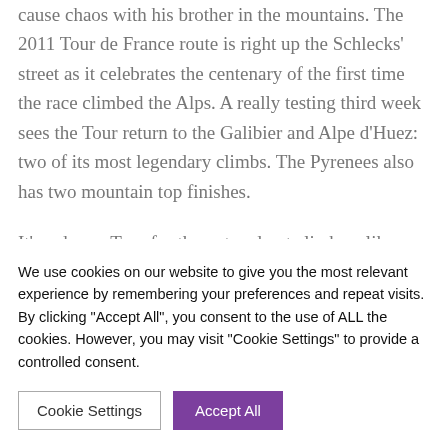Frank is back and will have plenty of opportunity to cause chaos with his brother in the mountains. The 2011 Tour de France route is right up the Schlecks' street as it celebrates the centenary of the first time the race climbed the Alps. A really testing third week sees the Tour return to the Galibier and Alpe d'Huez: two of its most legendary climbs. The Pyrenees also has two mountain top finishes.
It's a dream Tour for the out and out climbers like Andy Schleck made even better by the lack of time-
We use cookies on our website to give you the most relevant experience by remembering your preferences and repeat visits. By clicking "Accept All", you consent to the use of ALL the cookies. However, you may visit "Cookie Settings" to provide a controlled consent.